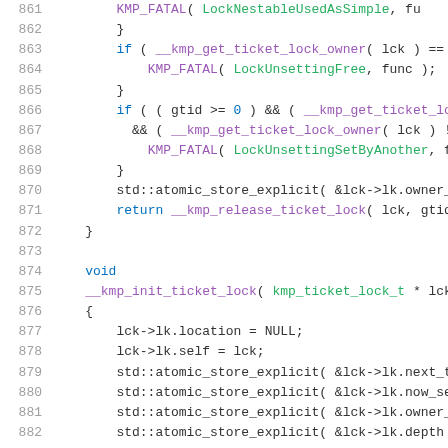[Figure (screenshot): Source code listing showing C++ code for ticket lock functions, lines 861-882, with syntax highlighting in monospace font. Line numbers in gray, keywords in blue/purple, function names and identifiers in various colors.]